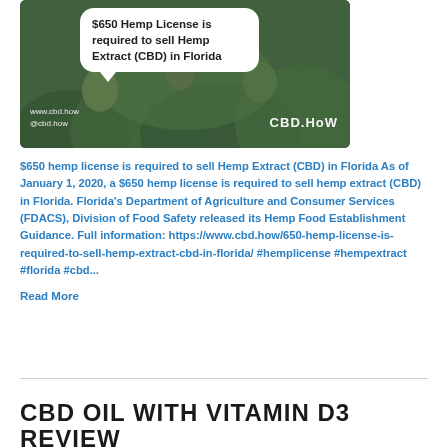[Figure (photo): Photo of hemp plants in a greenhouse/field with a speech bubble overlay reading '$650 Hemp License is required to sell Hemp Extract (CBD) in Florida', watermarks 'www.cbd.how @cbd.how' and 'CBD.HOW' logo]
$650 hemp license is required to sell Hemp Extract (CBD) in Florida As of January 1, 2020, a $650 hemp license is required to sell hemp extract (CBD) in Florida. Florida's Department of Agriculture and Consumer Services (FDACS), Division of Food Safety released its Hemp Food Establishment Guidance. Full information: https://www.cbd.how/650-hemp-license-is-required-to-sell-hemp-extract-cbd-in-florida/ #hemplicense #hempextract #florida #cbd...
Read More
CBD OIL WITH VITAMIN D3 REVIEW